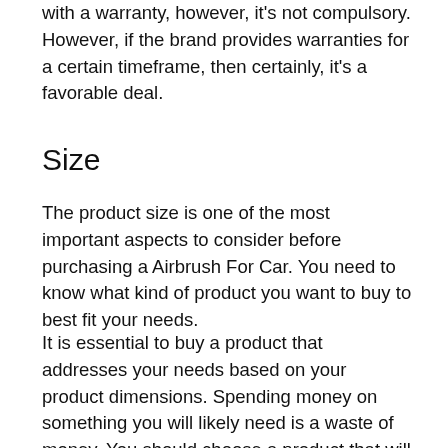with a warranty, however, it's not compulsory. However, if the brand provides warranties for a certain timeframe, then certainly, it's a favorable deal.
Size
The product size is one of the most important aspects to consider before purchasing a Airbrush For Car. You need to know what kind of product you want to buy to best fit your needs.
It is essential to buy a product that addresses your needs based on your product dimensions. Spending money on something you will likely need is a waste of money. You should choose a product that will meet your